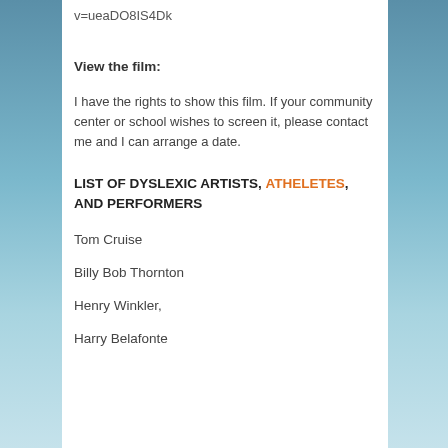v=ueaDO8IS4Dk
View the film:
I have the rights to show this film.  If your community center or school wishes to screen it, please contact me and I can arrange a date.
LIST OF DYSLEXIC ARTISTS, ATHELETES, AND PERFORMERS
Tom Cruise
Billy Bob Thornton
Henry Winkler,
Harry Belafonte